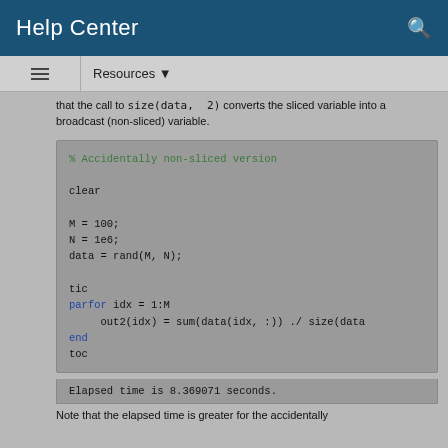Help Center
Resources ▼
that the call to size(data, 2) converts the sliced variable into a broadcast (non-sliced) variable.
% Accidentally non-sliced version

clear

M = 100;
N = 1e6;
data = rand(M, N);

tic
parfor idx = 1:M
    out2(idx) = sum(data(idx, :)) ./ size(data
end
toc
Elapsed time is 8.369071 seconds.
Note that the elapsed time is greater for the accidentally